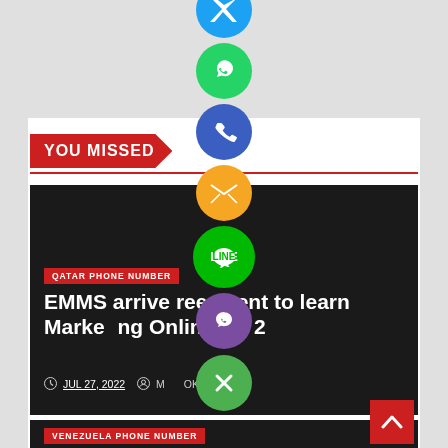[Figure (infographic): Vertical column of social sharing icon circles: blue (partial at top), green WhatsApp, blue/indigo phone, orange email/envelope, green LINE, purple Viber, green close/X button]
YOU MISSED
[Figure (screenshot): Dark article card with red category label 'QATAR PHONE NUMBER', white headline 'EMMS arrives free event to learn Marketing Online for 2', date JUL 27, 2022 and author MABOKUL]
QATAR PHONE NUMBER
EMMS arrives free event to learn Marketing Online for 2
JUL 27, 2022   MABOKUL
[Figure (screenshot): Second dark article card with red category label 'VENEZUELA PHONE NUMBER' partially visible]
VENEZUELA PHONE NUMBER